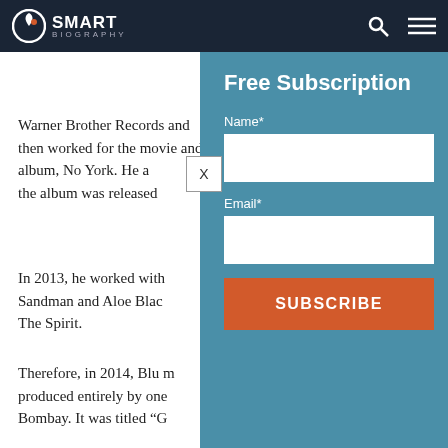SMART BIOGRAPHY
Warner Brother Records and then worked for the movie and album, No York. He a... the album was released
In 2013, he worked with Sandman and Aloe Blac... The Spirit.
Therefore, in 2014, Blu m... produced entirely by one Bombay. It was titled “G
In 2017, Blu & Exile cele... of Below The Heavens a... Angeles, California perfo... band.
[Figure (screenshot): Free Subscription popup modal overlay with Name and Email fields and a Subscribe button, overlaid on a biography article page with Smart Biography navigation bar at top.]